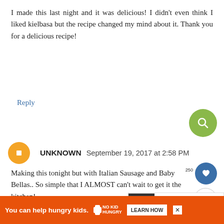I made this last night and it was delicious! I didn't even think I liked kielbasa but the recipe changed my mind about it. Thank you for a delicious recipe!
Reply
UNKNOWN September 19, 2017 at 2:58 PM
Making this tonight but with Italian Sausage and Baby Bellas.. So simple that I ALMOST can't wait to get it the kitchen!
Reply
[Figure (screenshot): What's Next panel showing Sheet Pan Eggplant...]
[Figure (infographic): Advertisement banner: You can help hungry kids. No Kid Hungry. Learn How.]